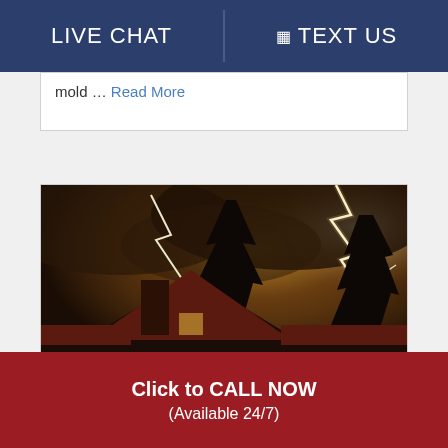LIVE CHAT   TEXT US
mold … Read More
[Figure (photo): A house with a steep roof and chimney at night during a severe lightning storm, with multiple lightning bolts striking across a dark, dramatic sky with trees silhouetted in the background.]
Click to CALL NOW
(Available 24/7)